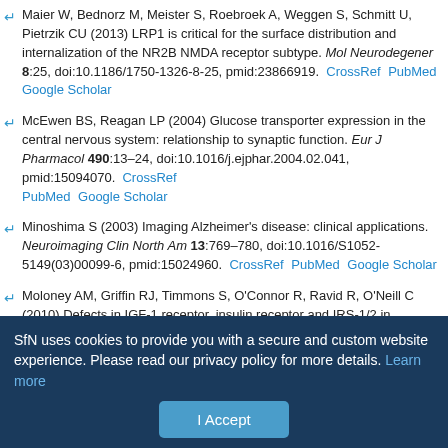Maier W, Bednorz M, Meister S, Roebroek A, Weggen S, Schmitt U, Pietrzik CU (2013) LRP1 is critical for the surface distribution and internalization of the NR2B NMDA receptor subtype. Mol Neurodegener 8:25, doi:10.1186/1750-1326-8-25, pmid:23866919. CrossRef PubMed Google Scholar
McEwen BS, Reagan LP (2004) Glucose transporter expression in the central nervous system: relationship to synaptic function. Eur J Pharmacol 490:13–24, doi:10.1016/j.ejphar.2004.02.041, pmid:15094070. CrossRef PubMed Google Scholar
Minoshima S (2003) Imaging Alzheimer's disease: clinical applications. Neuroimaging Clin North Am 13:769–780, doi:10.1016/S1052-5149(03)00099-6, pmid:15024960. CrossRef PubMed Google Scholar
Moloney AM, Griffin RJ, Timmons S, O'Connor R, Ravid R, O'Neill C (2010) Defects in IGF-1 receptor, insulin receptor and IRS-1/2 in
SfN uses cookies to provide you with a secure and custom website experience. Please read our privacy policy for more details. Learn more